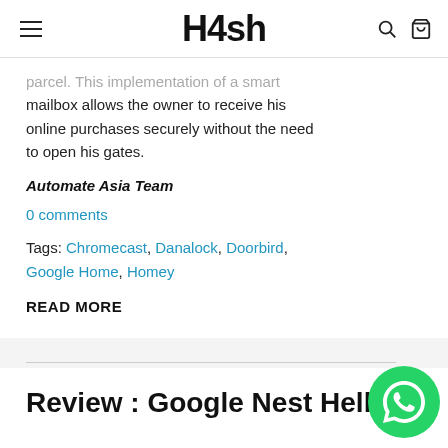H4sh
parcel. This implementation of a smart mailbox allows the owner to receive his online purchases securely without the need to open his gates.
Automate Asia Team
0 comments
Tags: Chromecast, Danalock, Doorbird, Google Home, Homey
READ MORE
Review : Google Nest Hello